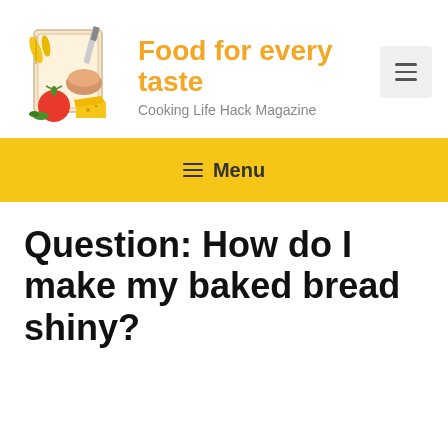[Figure (logo): Food for every taste cooking magazine logo with food illustration (tomato, corn, cheese, bread, knife on parchment paper background)]
Food for every taste
Cooking Life Hack Magazine
≡ Menu
Question: How do I make my baked bread shiny?